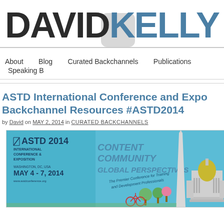DAVID KELLY
About | Blog | Curated Backchannels | Publications | Speaking B
ASTD International Conference and Expo Backchannel Resources #ASTD2014
by David on MAY 2, 2014 in CURATED BACKCHANNELS
[Figure (infographic): ASTD 2014 International Conference & Exposition banner. Washington DC, USA, May 4-7, 2014. Content Community Global Perspectives. The Premier Conference for Training and Development Professionals. Features Washington Monument and Capitol illustration.]